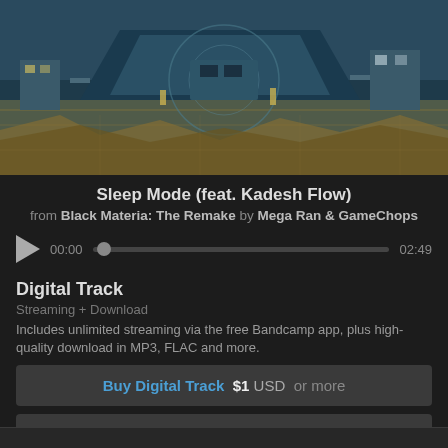[Figure (illustration): Isometric sci-fi / cyberpunk city scene artwork in teal, blue, and tan tones. Shows buildings, corridors, and futuristic architecture from top-down perspective.]
Sleep Mode (feat. Kadesh Flow)
from Black Materia: The Remake by Mega Ran & GameChops
[Figure (other): Audio player with play button, time display 00:00, scrubber bar with handle, and end time 02:49]
Digital Track
Streaming + Download
Includes unlimited streaming via the free Bandcamp app, plus high-quality download in MP3, FLAC and more.
Buy Digital Track  $1  USD  or more
Send as Gift